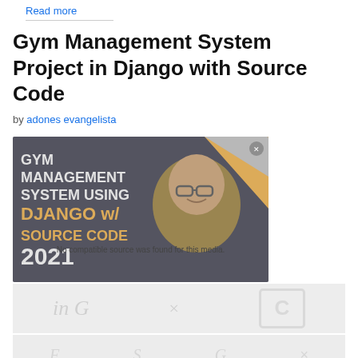Read more
Gym Management System Project in Django with Source Code
by adones evangelista
[Figure (screenshot): Thumbnail image for a video tutorial titled 'GYM MANAGEMENT SYSTEM USING DJANGO w/ SOURCE CODE 2021' showing a smiling man wearing glasses. An overlay message reads 'No compatible source was found for this media.']